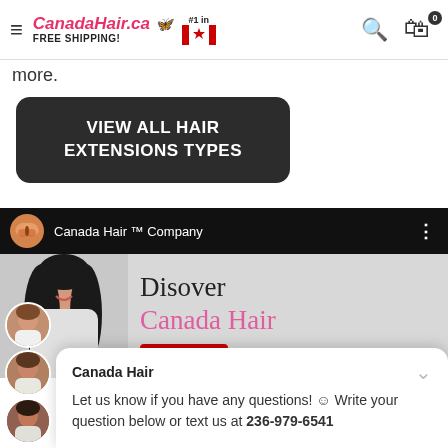CanadaHair.ca 🦋 FREE SHIPPING! #1 in Canada
more.
VIEW ALL HAIR EXTENSIONS TYPES
[Figure (screenshot): Canada Hair Company YouTube video thumbnail showing a woman with long dark hair, text reading 'Disover Canada Hair' in pink, with a red button below. Video bar shows butterfly logo and channel name 'Canada Hair ™ Company'.]
Canada Hair
Let us know if you have any questions! 😊 Write your question below or text us at 236-979-6541